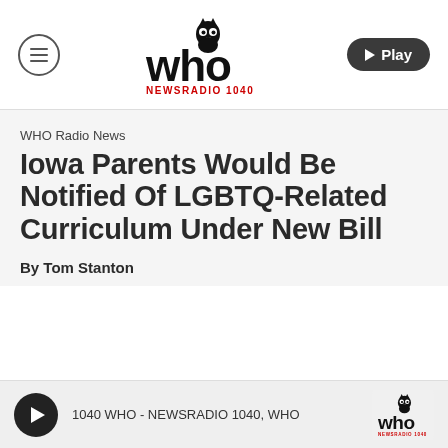[Figure (logo): WHO Newsradio 1040 website header with hamburger menu, WHO owl logo, and Play button]
WHO Radio News
Iowa Parents Would Be Notified Of LGBTQ-Related Curriculum Under New Bill
By Tom Stanton
[Figure (other): Audio player bar: play button, label '1040 WHO - NEWSRADIO 1040, WHO', and WHO logo thumbnail]